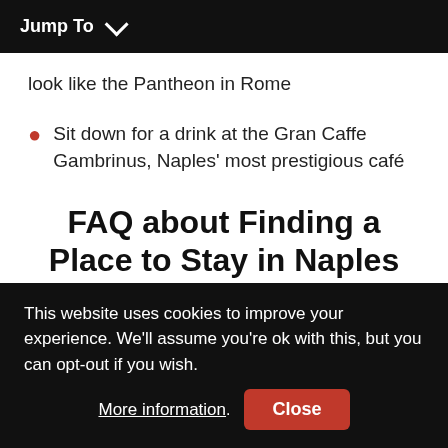Jump To
look like the Pantheon in Rome
Sit down for a drink at the Gran Caffe Gambrinus, Naples' most prestigious café
FAQ about Finding a Place to Stay in Naples
Here's what people usually ask us about the areas of Naples and where to stay.
This website uses cookies to improve your experience. We'll assume you're ok with this, but you can opt-out if you wish. More information. Close